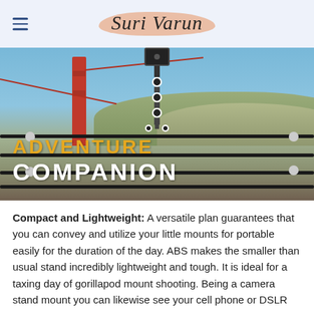Suri Varun
[Figure (photo): A flexible gorillapod tripod mount attached to iron fence railings with the Golden Gate Bridge and hills visible in the background. Text overlay reads 'ADVENTURE COMPANION' in yellow and white bold uppercase letters.]
Compact and Lightweight: A versatile plan guarantees that you can convey and utilize your little mounts for portable easily for the duration of the day. ABS makes the smaller than usual stand incredibly lightweight and tough. It is ideal for a taxing day of gorillapod mount shooting. Being a camera stand mount you can likewise see your cell phone or DSLR